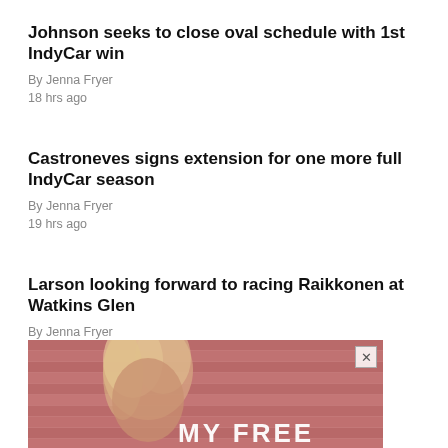Johnson seeks to close oval schedule with 1st IndyCar win
By Jenna Fryer
18 hrs ago
Castroneves signs extension for one more full IndyCar season
By Jenna Fryer
19 hrs ago
Larson looking forward to racing Raikkonen at Watkins Glen
By Jenna Fryer
22 hrs ago
[Figure (photo): Advertisement image showing a woman with blonde hair against a reddish-pink background, with text 'MY FREE' visible at the bottom. A close button (X) is visible in the top right corner.]